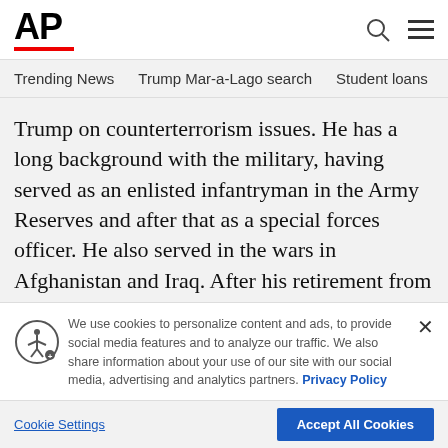AP
Trending News  Trump Mar-a-Lago search  Student loans  U.S.
Trump on counterterrorism issues. He has a long background with the military, having served as an enlisted infantryman in the Army Reserves and after that as a special forces officer. He also served in the wars in Afghanistan and Iraq. After his retirement from the military, Miller worked as a defense contractor.
MORE STORIES:
[Figure (photo): Advertisement image with orange/brown gradient background and colored dots, with close X button]
We use cookies to personalize content and ads, to provide social media features and to analyze our traffic. We also share information about your use of our site with our social media, advertising and analytics partners. Privacy Policy
[Figure (illustration): Accessibility icon - person in circle with spokes]
Cookie Settings
Accept All Cookies